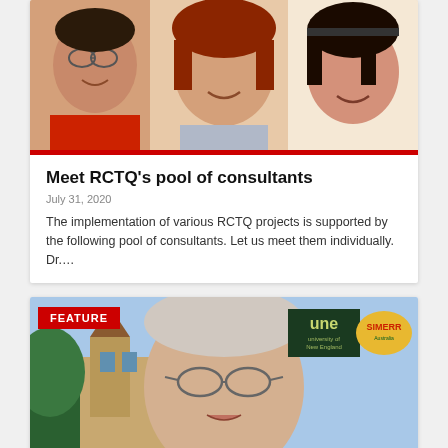[Figure (photo): Three women smiling, headshots against white/light background, with red accent bar at bottom]
Meet RCTQ's pool of consultants
July 31, 2020
The implementation of various RCTQ projects is supported by the following pool of consultants. Let us meet them individually. Dr....
[Figure (photo): Feature image: older man with glasses in video call overlay on university building background, with UNE and SIMERR logos visible. Red FEATURE badge top-left.]
RCTQ co-director talks about 'new normal' at PNU's virtual send-off for 2020 graduates